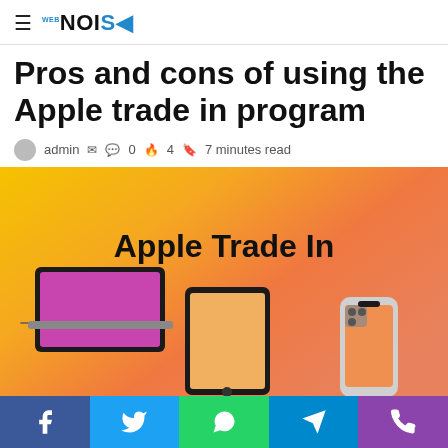≡ NOISE
Pros and cons of using the Apple trade in program
admin ✉ 💬 0 🔥 4 📖 7 minutes read
[Figure (photo): Apple Trade In promotional image with yellow-orange gradient background showing a MacBook, iPad, and iPhone with text 'Apple Trade In']
Facebook | Twitter | WhatsApp | Telegram | Phone